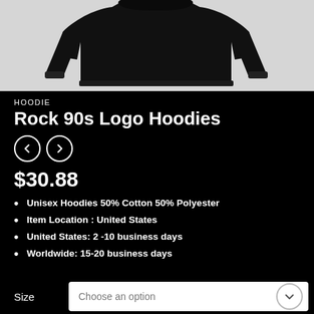[Figure (photo): Black hoodie sweatshirt product photo on white/light gray background, showing the upper portion of the garment with sleeves extended]
HOODIE
Rock 90s Logo Hoodies
$30.88
Unisex Hoodies 50% Cotton 50% Polyester
Item Location : United States
United States: 2 -10 business days
Worldwide: 15-20 business days
Size  Choose an option